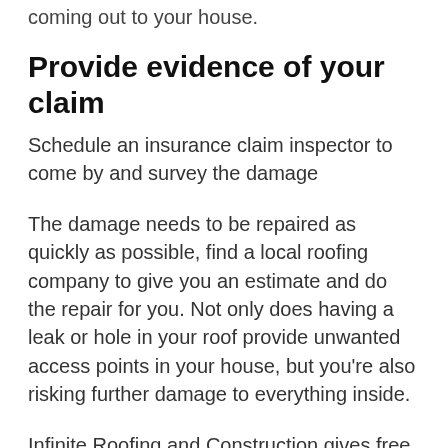coming out to your house.
Provide evidence of your claim
Schedule an insurance claim inspector to come by and survey the damage
The damage needs to be repaired as quickly as possible, find a local roofing company to give you an estimate and do the repair for you. Not only does having a leak or hole in your roof provide unwanted access points in your house, but you're also risking further damage to everything inside.
Infinite Roofing and Construction gives free estimates for roof repairs and replacements,